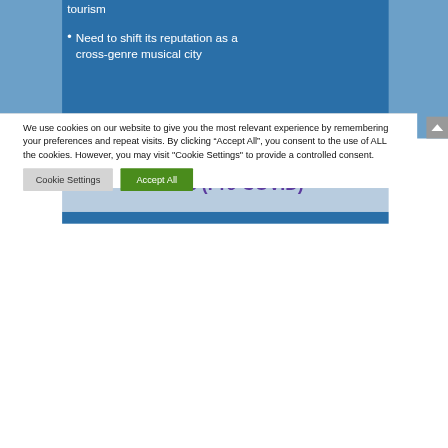tourism
Need to shift its reputation as a cross-genre musical city
Trends in Live & Recorded Music (Pre-COVID)
We use cookies on our website to give you the most relevant experience by remembering your preferences and repeat visits. By clicking “Accept All”, you consent to the use of ALL the cookies. However, you may visit “Cookie Settings” to provide a controlled consent.